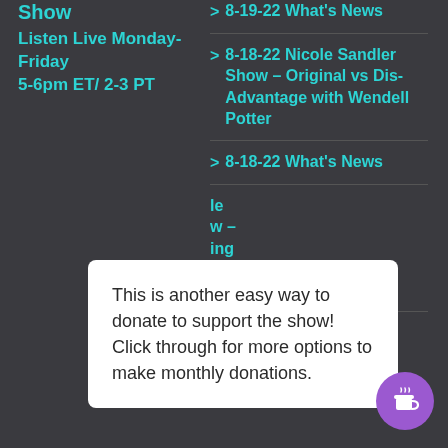Show
Listen Live Monday-Friday
5-6pm ET/ 2-3 PT
8-19-22 What's News
8-18-22 Nicole Sandler Show – Original vs Dis-Advantage with Wendell Potter
8-18-22 What's News
This is another easy way to donate to support the show! Click through for more options to make monthly donations.
[Figure (illustration): Purple circular button with coffee cup icon (Buy Me a Coffee widget)]